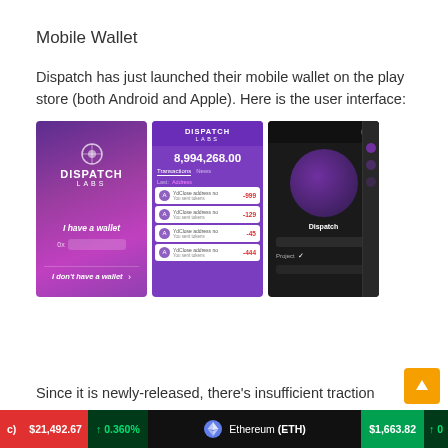Mobile Wallet
Dispatch has just launched their mobile wallet on the play store (both Android and Apple). Here is the user interface:
[Figure (screenshot): Three mobile app screenshots of the Dispatch Labs wallet: (1) purple login screen with logo and 'I have a wallet'/'I don't have a wallet' options, (2) purple transaction screen showing balance 8,994,268.00 with transaction list showing -999, -129, -45, -444, (3) dark screen with circular purple graphic and Dispatch input form]
Since it is newly-released, there's insufficient traction
$21,492.67 ↑ 0.360%   Ethereum (ETH)  $1,663.82 ↑